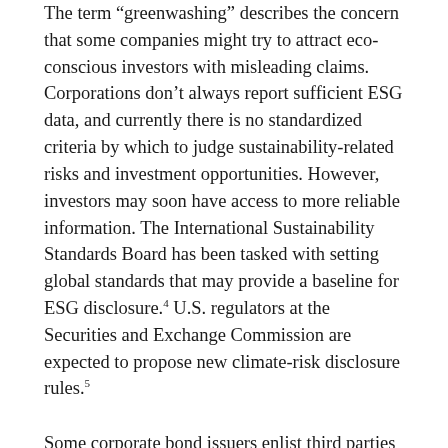The term “greenwashing” describes the concern that some companies might try to attract eco-conscious investors with misleading claims. Corporations don’t always report sufficient ESG data, and currently there is no standardized criteria by which to judge sustainability-related risks and investment opportunities. However, investors may soon have access to more reliable information. The International Sustainability Standards Board has been tasked with setting global standards that may provide a baseline for ESG disclosure.4 U.S. regulators at the Securities and Exchange Commission are expected to propose new climate-risk disclosure rules.5
Some corporate bond issuers enlist third parties to provide verification that their green bonds would indeed finance projects intended to have a positive environmental impact. Still, investors may want to look beyond a bond investment’s green label and take a deeper dive into the specific projects being